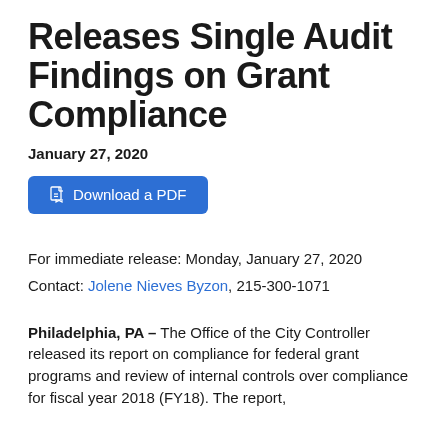Releases Single Audit Findings on Grant Compliance
January 27, 2020
Download a PDF
For immediate release: Monday, January 27, 2020
Contact: Jolene Nieves Byzon, 215-300-1071
Philadelphia, PA – The Office of the City Controller released its report on compliance for federal grant programs and review of internal controls over compliance for fiscal year 2018 (FY18). The report,